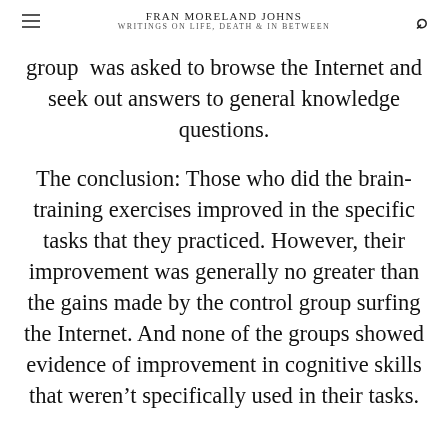FRAN MORELAND JOHNS
WRITINGS ON LIFE, DEATH & IN BETWEEN
group was asked to browse the Internet and seek out answers to general knowledge questions.
The conclusion: Those who did the brain-training exercises improved in the specific tasks that they practiced. However, their improvement was generally no greater than the gains made by the control group surfing the Internet. And none of the groups showed evidence of improvement in cognitive skills that weren’t specifically used in their tasks.